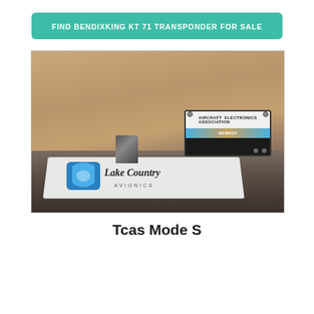FIND BENDIXKING KT 71 TRANSPONDER FOR SALE
[Figure (photo): Photo of a BendixKing KT 71 transponder unit sitting on a white mat/surface with a Lake Country Avionics logo mat, alongside an Aircraft Electronics Association (AEA) member sign, set against a tan/brown background wall.]
Tcas Mode S